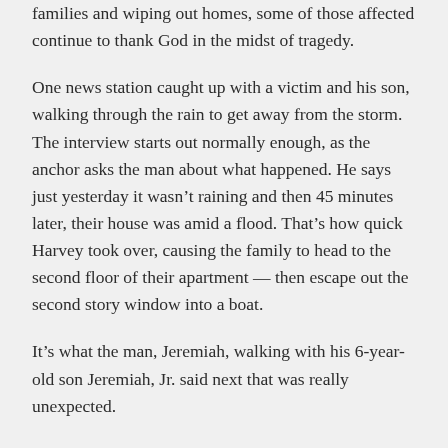families and wiping out homes, some of those affected continue to thank God in the midst of tragedy.
One news station caught up with a victim and his son, walking through the rain to get away from the storm. The interview starts out normally enough, as the anchor asks the man about what happened. He says just yesterday it wasn’t raining and then 45 minutes later, their house was amid a flood. That’s how quick Harvey took over, causing the family to head to the second floor of their apartment — then escape out the second story window into a boat.
It’s what the man, Jeremiah, walking with his 6-year-old son Jeremiah, Jr. said next that was really unexpected.